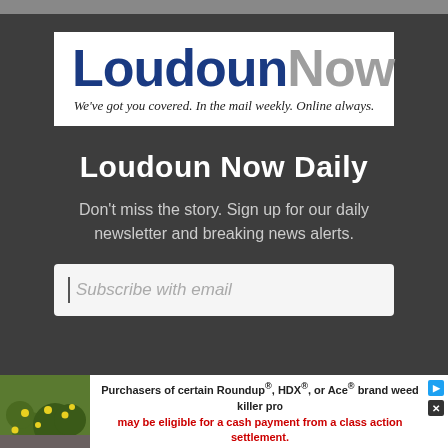[Figure (logo): LoudounNow logo with blue 'Loudoun' and gray 'Now' text, tagline: We've got you covered. In the mail weekly. Online always.]
Loudoun Now Daily
Don't miss the story. Sign up for our daily newsletter and breaking news alerts.
[Figure (screenshot): Email subscription input box with placeholder text 'Subscribe with email']
Purchasers of certain Roundup®, HDX®, or Ace® brand weed killer pro may be eligible for a cash payment from a class action settlement. Visit www.WeedKillerAdSettlement.com to learn more.